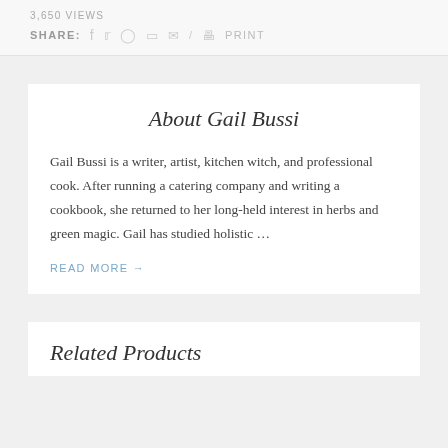3,650 VIEWS
SHARE: f  t  (pinterest)  (linkedin)  (mail)  /  (print)  PRINT
About Gail Bussi
Gail Bussi is a writer, artist, kitchen witch, and professional cook. After running a catering company and writing a cookbook, she returned to her long-held interest in herbs and green magic. Gail has studied holistic …
READ MORE →
Related Products